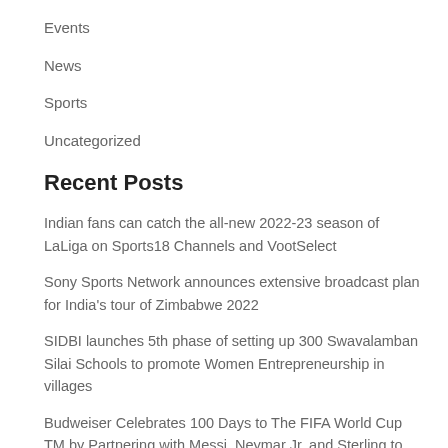Events
News
Sports
Uncategorized
Recent Posts
Indian fans can catch the all-new 2022-23 season of LaLiga on Sports18 Channels and VootSelect
Sony Sports Network announces extensive broadcast plan for India's tour of Zimbabwe 2022
SIDBI launches 5th phase of setting up 300 Swavalamban Silai Schools to promote Women Entrepreneurship in villages
Budweiser Celebrates 100 Days to The FIFA World Cup TM by Partnering with Messi, Neymar Jr. and Sterling to Drop Hundreds of Prizes For Fans Around